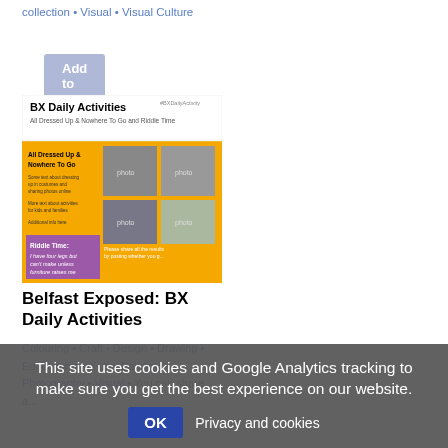collection • Visual • Visual Culture
Add to my list
[Figure (screenshot): BX Daily Activities flyer with orange background, showing costume photos and a riddle section]
Belfast Exposed: BX Daily Activities
Colouring • Craft • Design • Drawing • Educational • Kids • Painting • Photography • Visual • You can share a...
This site uses cookies and Google Analytics tracking to make sure you get the best experience on our website. OK  Privacy and cookies